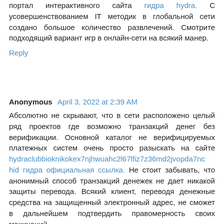портал интерактивного сайта гидра hydra. С усовершенствованием IT методик в глобальной сети создано большое количество развлечений. Смотрите подходящий вариант игр в онлайн-сети на всякий манер.
Reply
Anonymous  April 3, 2022 at 2:39 AM
Абсолютно не скрывают, что в сети расположено целый ряд проектов где возможно транзакций денег без верификации. Основной каталог не верифицируемых платежных систем очень просто разыскать на сайте hydraclubbioknikokex7njhwuahc2l67lfiz7z36md2jvopda7nc hid гидра официальная ссылка. Не стоит забывать, что анонимный способ транзакций денежек не дает никакой защиты перевода. Всякий клиент, переводя денежные средства на защищенный электронный адрес, не сможет в дальнейшем подтвердить правомерность своих махинаций.
Reply